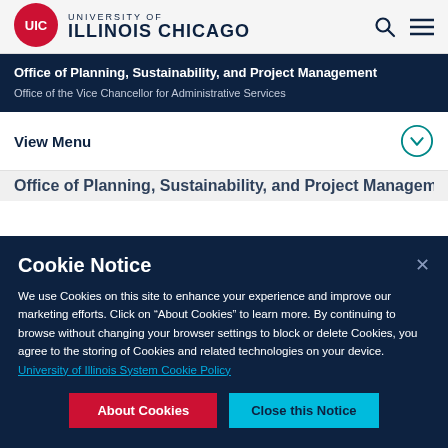[Figure (logo): UIC University of Illinois Chicago logo with red circle containing UIC text and university name in navy]
UNIVERSITY OF
ILLINOIS CHICAGO
Office of Planning, Sustainability, and Project Management
Office of the Vice Chancellor for Administrative Services
View Menu
Office of Planning, Sustainability, and Project Management
Cookie Notice
We use Cookies on this site to enhance your experience and improve our marketing efforts. Click on “About Cookies” to learn more. By continuing to browse without changing your browser settings to block or delete Cookies, you agree to the storing of Cookies and related technologies on your device. University of Illinois System Cookie Policy
About Cookies
Close this Notice